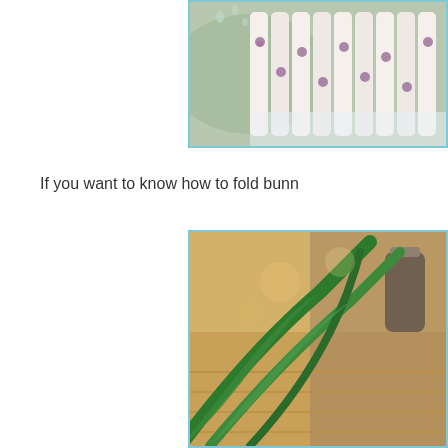[Figure (photo): Close-up photo of folded white napkins with purple floral pattern, arranged in a row on a plate or dish]
If you want to know how to fold bunn
[Figure (photo): Photo of green plant leaves in the foreground with a blurred warm-toned background showing a wooden floor and decorative items]